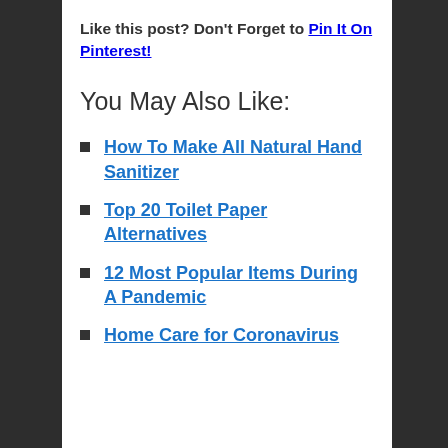Like this post? Don't Forget to Pin It On Pinterest!
You May Also Like:
How To Make All Natural Hand Sanitizer
Top 20 Toilet Paper Alternatives
12 Most Popular Items During A Pandemic
Home Care for Coronavirus Patients with Mild Symptoms